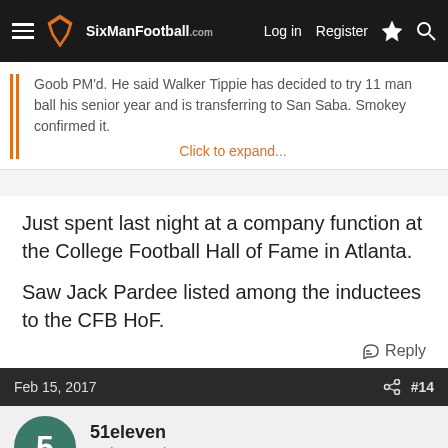SixManFootball.com — Log in  Register
Goob PM'd. He said Walker Tippie has decided to try 11 man ball his senior year and is transferring to San Saba. Smokey confirmed it.
Click to expand...
Just spent last night at a company function at the College Football Hall of Fame in Atlanta.
Saw Jack Pardee listed among the inductees to the CFB HoF.
Reply
Feb 15, 2017  #14
51eleven
Active member
I remember watching him play for the Rams and Skins in the late 60s / early 70s. Way before I ever heard of sixman football.